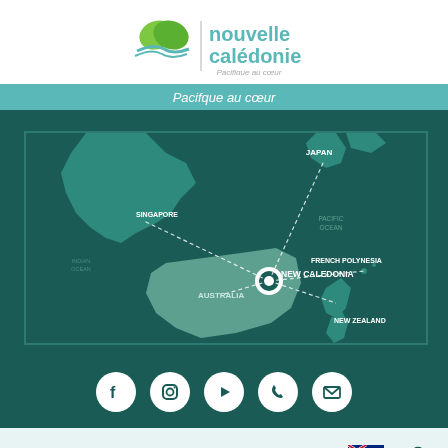[Figure (logo): Nouvelle Calédonie logo with green heart/leaf shape and teal text 'nouvelle calédonie' with tagline 'Pacifique au coeur']
Pacifque au cœur
[Figure (map): Map showing New Caledonia at center with dotted flight route lines connecting to Japan, Singapore, Australia, French Polynesia, and New Zealand. Labels: JAPAN, SINGAPORE, PACIFIC OCEAN, INDIAN OCEAN, AUSTRALIA, FRENCH POLYNESIA, NEW CALEDONIA, NEW ZEALAND]
[Figure (infographic): Social media icons: Facebook, Instagram, YouTube, Phone, Email - white circles on dark teal background]
BLAB_MENU